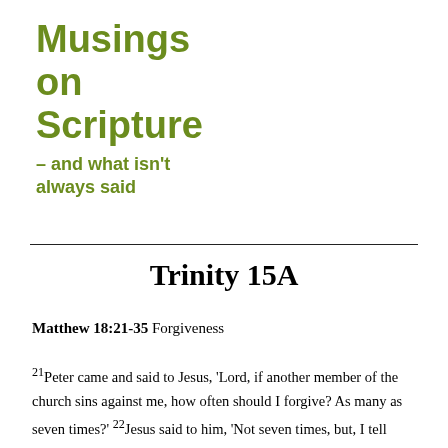Musings on Scripture – and what isn't always said
Trinity 15A
Matthew 18:21-35 Forgiveness
21Peter came and said to Jesus, 'Lord, if another member of the church sins against me, how often should I forgive? As many as seven times?' 22Jesus said to him, 'Not seven times, but, I tell